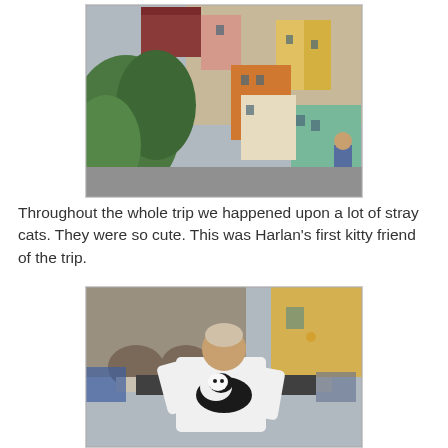[Figure (photo): Colorful stacked buildings of an Italian coastal village (Cinque Terre), with green vegetation and a person in a plaid jacket visible on the right.]
Throughout the whole trip we happened upon a lot of stray cats. They were so cute. This was Harlan's first kitty friend of the trip.
[Figure (photo): An older man in a white shirt petting a black and white cat on a table, with stone buildings and a restaurant in the background.]